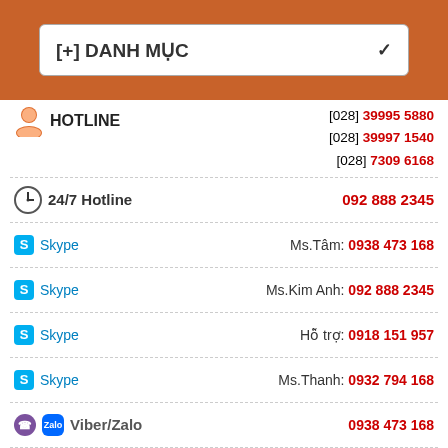[+] DANH MỤC
HOTLINE [028] 39995 5880 [028] 39997 1540 [028] 7309 6168
24/7 Hotline 092 888 2345
Skype Ms.Tâm: 0938 473 168
Skype Ms.Kim Anh: 092 888 2345
Skype Hỗ trợ: 0918 151 957
Skype Ms.Thanh: 0932 794 168
Viber/Zalo 0938 473 168
Viber/Zalo 0932 794 168
Viber/Zalo 0918 151 957
Skype Hỗ trợ kỹ thuật
Gửi yêu cầu hỗ trợ